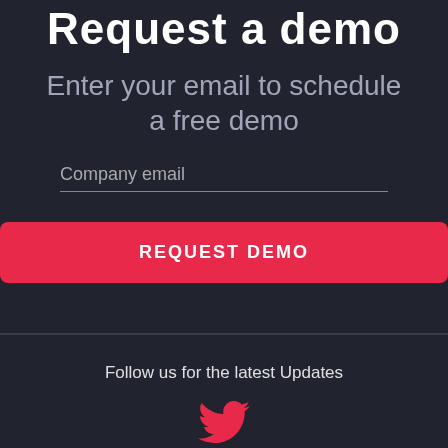Request a demo
Enter your email to schedule a free demo
Company email
REQUEST DEMO
Follow us for the latest Updates
[Figure (logo): Twitter bird icon in red/pink color]